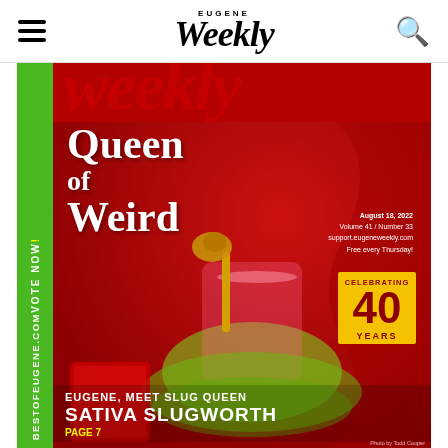Eugene Weekly
[Figure (photo): Eugene Weekly magazine cover featuring a woman in colorful costume (Slug Queen Sativa Slugworth) holding a golden snail scepter, wearing a holographic crown and green tutu, posing against a red background. The cover reads 'Queen of Weird'. Text includes: August 18, 2022, Volume 41 / Number 33, support.eugeneweekly.com, Free every Thursday!, Celebrating 40 Years, Eugene Meet Slug Queen Sativa Slugworth, Page 7. Left sidebar in green: BESTOFEUGENE.COM, VOTE NOW!]
Photo by Todd Cooper